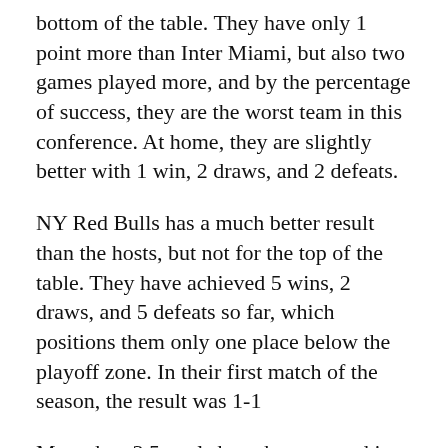bottom of the table. They have only 1 point more than Inter Miami, but also two games played more, and by the percentage of success, they are the worst team in this conference. At home, they are slightly better with 1 win, 2 draws, and 2 defeats.
NY Red Bulls has a much better result than the hosts, but not for the top of the table. They have achieved 5 wins, 2 draws, and 5 defeats so far, which positions them only one place below the playoff zone. In their first match of the season, the result was 1-1
More than 3.5 goals have been scored in Toronto matches this season. The NY Red Bulls have close to 3 goals on average, I think this could be a match with at least 3 goals, and that is my bet here.
[Figure (photo): Partial photograph of a soccer/football field showing green grass, cropped at the bottom of the page.]